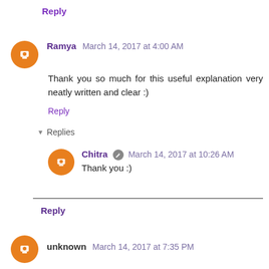Reply
Ramya March 14, 2017 at 4:00 AM
Thank you so much for this useful explanation very neatly written and clear :)
Reply
Replies
Chitra March 14, 2017 at 10:26 AM
Thank you :)
Reply
unknown March 14, 2017 at 7:35 PM